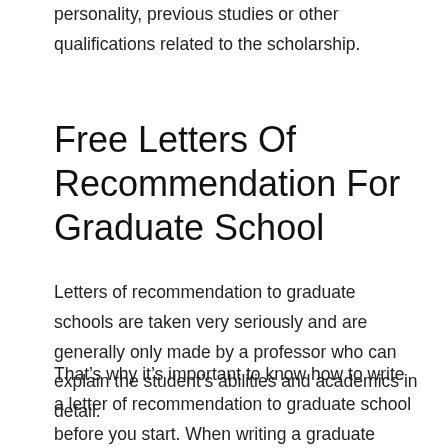personality, previous studies or other qualifications related to the scholarship.
Free Letters Of Recommendation For Graduate School
Letters of recommendation to graduate schools are taken very seriously and are generally only made by a professor who can explain the student’s abilities and academics in detail.
That’s why it’s important to know how to write a letter of recommendation to graduate school before you start. When writing a graduate recommendation letter for a